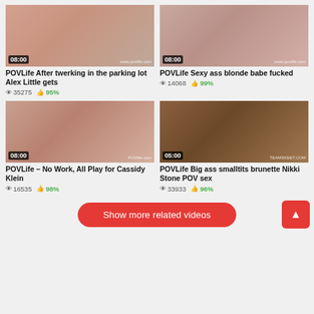[Figure (screenshot): Video thumbnail for POVLife After twerking in the parking lot Alex Little gets, duration 08:00, watermark www.povlife.com]
POVLife After twerking in the parking lot Alex Little gets
35275 views  95% likes
[Figure (screenshot): Video thumbnail for POVLife Sexy ass blonde babe fucked, duration 08:00, watermark www.povlife.com]
POVLife Sexy ass blonde babe fucked
14068 views  99% likes
[Figure (screenshot): Video thumbnail for POVLife No Work All Play for Cassidy Klein, duration 08:00, watermark POVlife.com]
POVLife – No Work, All Play for Cassidy Klein
16535 views  98% likes
[Figure (screenshot): Video thumbnail for POVLife Big ass smalltits brunette Nikki Stone POV sex, duration 05:00, watermark TEAMSKEET.COM]
POVLife Big ass smalltits brunette Nikki Stone POV sex
33933 views  96% likes
Show more related videos